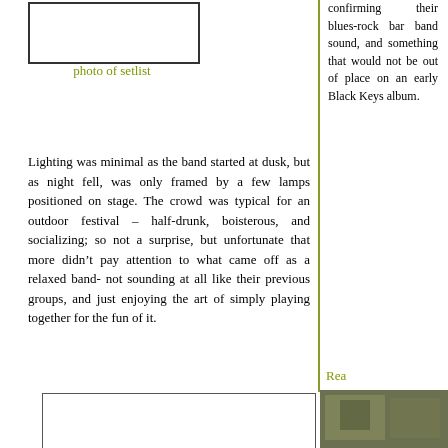[Figure (photo): Photo placeholder box for setlist image]
photo of setlist
confirming their blues-rock bar band sound, and something that would not be out of place on an early Black Keys album.
Lighting was minimal as the band started at dusk, but as night fell, was only framed by a few lamps positioned on stage. The crowd was typical for an outdoor festival – half-drunk, boisterous, and socializing; so not a surprise, but unfortunate that more didn't pay attention to what came off as a relaxed band- not sounding at all like their previous groups, and just enjoying the art of simply playing together for the fun of it.
Rea
[Figure (photo): Small photo in right column, partially visible]
[Figure (other): Large bordered empty box at bottom of page]